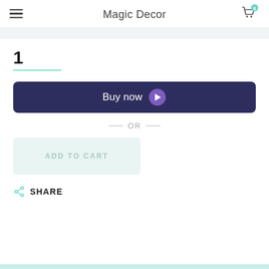Magic Decor
1
[Figure (other): Buy now button with purple arrow icon on dark navy background]
— OR —
[Figure (other): Add to Cart button with light teal background and muted text]
SHARE